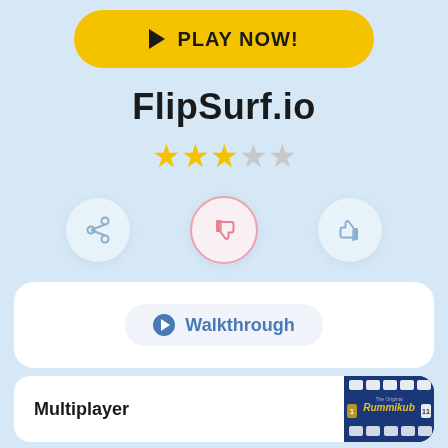[Figure (other): Yellow play button with triangle icon and PLAY NOW! text]
FlipSurf.io
[Figure (other): 3 gold stars and 2 gray stars rating]
[Figure (other): Three circular action buttons: share, dislike (highlighted in pink border), thumbs up]
[Figure (other): White card with Walkthrough button]
Multiplayer
[Figure (screenshot): Rummikub game screenshot on dark blue background]